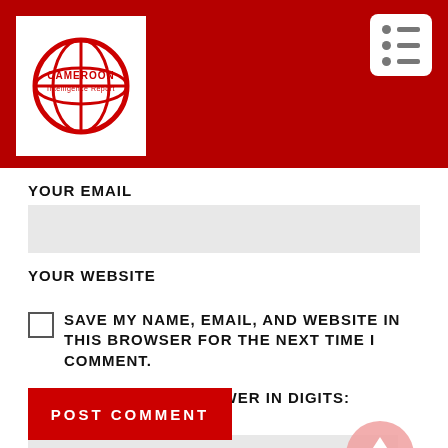[Figure (logo): Cameroon Intelligence Report logo - globe icon with red and white colors, text 'CAMEROON Intelligence Report']
YOUR EMAIL
YOUR WEBSITE
SAVE MY NAME, EMAIL, AND WEBSITE IN THIS BROWSER FOR THE NEXT TIME I COMMENT.
PLEASE ENTER AN ANSWER IN DIGITS:
11 + fourteen =
[Figure (illustration): Back to top arrow button - pink/light red circle with white upward arrow, text 'BACK TO TOP' below]
POST COMMENT